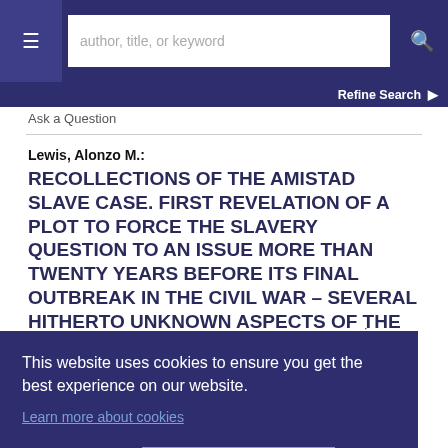author, title, or keyword | [menu] [search]
Refine Search
Ask a Question
Lewis, Alonzo M.:
RECOLLECTIONS OF THE AMISTAD SLAVE CASE. FIRST REVELATION OF A PLOT TO FORCE THE SLAVERY QUESTION TO AN ISSUE MORE THAN TWENTY YEARS BEFORE ITS FINAL OUTBREAK IN THE CIVIL WAR - SEVERAL HITHERTO UNKNOWN ASPECTS OF THE CASE
4, [28]
ples.
torn
pages
[Figure (screenshot): Cookie consent overlay with message: 'This website uses cookies to ensure you get the best experience on our website.' with a 'Learn more about cookies' link and an 'ACCEPT COOKIES' button.]